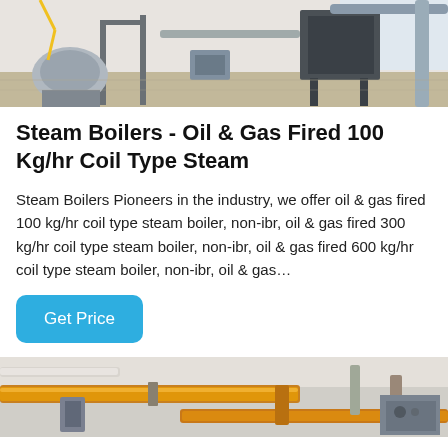[Figure (photo): Industrial boiler room with pipes, metal frames, and equipment on a factory floor]
Steam Boilers - Oil & Gas Fired 100 Kg/hr Coil Type Steam
Steam Boilers Pioneers in the industry, we offer oil & gas fired 100 kg/hr coil type steam boiler, non-ibr, oil & gas fired 300 kg/hr coil type steam boiler, non-ibr, oil & gas fired 600 kg/hr coil type steam boiler, non-ibr, oil & gas…
[Figure (other): Get Price button (blue rounded rectangle)]
[Figure (photo): Close-up of industrial piping with orange/yellow pipes and boiler equipment]